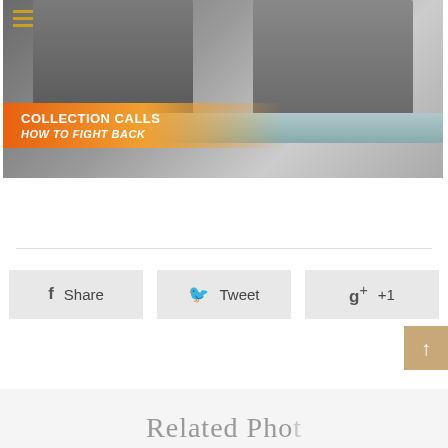[Figure (screenshot): TV news screenshot showing two people at a desk with a lower-third graphic reading 'COLLECTION CALLS / HOW TO FIGHT BACK' on an orange banner. A hamburger menu icon appears in the top-left corner.]
Share  Tweet  g+ +1
Related Pho...